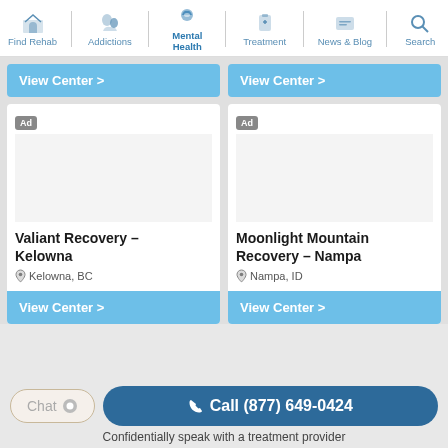Find Rehab | Addictions | Mental Health | Treatment | News & Blog | Search
View Center >
View Center >
Ad — Valiant Recovery – Kelowna — Kelowna, BC — View Center >
Ad — Moonlight Mountain Recovery – Nampa — Nampa, ID — View Center >
Chat | Call (877) 649-0424
Confidentially speak with a treatment provider